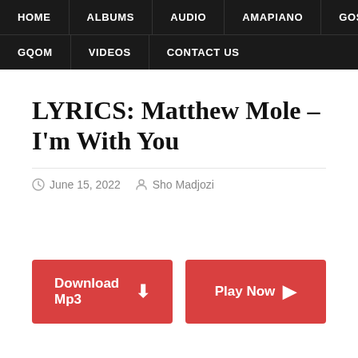HOME | ALBUMS | AUDIO | AMAPIANO | GOSPEL | GQOM | VIDEOS | CONTACT US
LYRICS: Matthew Mole – I'm With You
June 15, 2022  Sho Madjozi
Download Mp3  Play Now